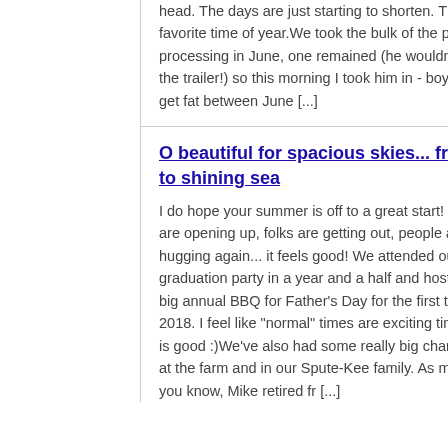head.  The days are just starting to shorten.  This is my favorite time of year.We took the bulk of the pigs to processing in June, one remained (he wouldn't get in the trailer!) so this morning I took him in - boy did he get fat between June [...]
O beautiful for spacious skies... from sea to shining sea
I do hope your summer is off to a great start!  Things are opening up, folks are getting out, people are hugging again... it feels good!  We attended our first graduation party in a year and a half and hosted our big annual BBQ for Father's Day for the first time since 2018.   I feel like "normal" times are exciting times!  Life is good :)We've also had some really big changes here at the farm and in our Spute-Kee family.  As many of you know, Mike retired fr [...]